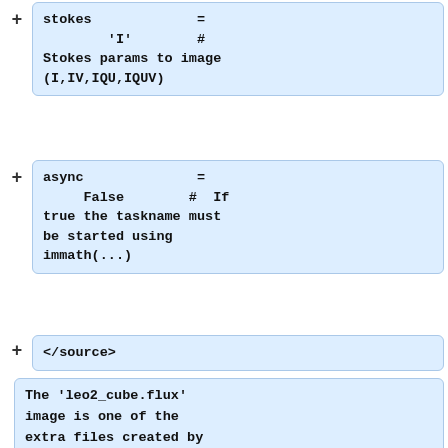stokes = 
    'I'     # Stokes params to image (I,IV,IQU,IQUV)
async = 
    False   # If true the taskname must be started using immath(...)
</source>
The 'leo2_cube.flux' image is one of the extra files created by [[clean]], and is a model of the primary beam. Here, we are using [[immath]] to divide the science image cube